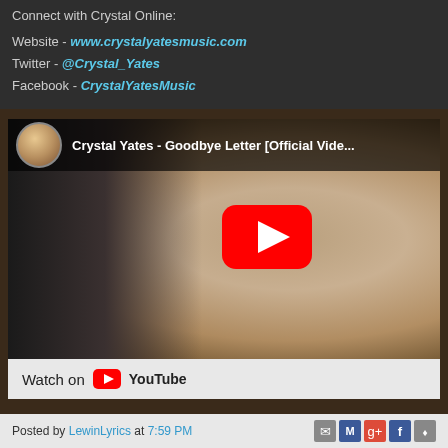Connect with Crystal Online:

Website - www.crystalyatesmusic.com
Twitter - @Crystal_Yates
Facebook - CrystalYatesMusic
[Figure (screenshot): YouTube video embed thumbnail for 'Crystal Yates - Goodbye Letter [Official Video]' showing a woman with dark curly hair and red lipstick, a YouTube play button overlay, and a 'Watch on YouTube' bar at the bottom.]
Posted by LewinLyrics at 7:59 PM [share icons: email, M, g+, f, bookmark]